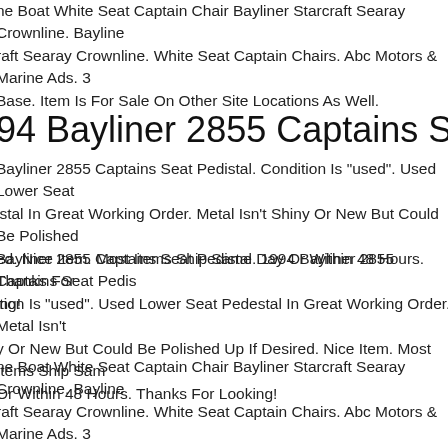ne Boat White Seat Captain Chair Bayliner Starcraft Searay Crownline. Bayline raft Searay Crownline. White Seat Captain Chairs. Abc Motors & Marine Ads. 3 Base. Item Is For Sale On Other Site Locations As Well.
94 Bayliner 2855 Captains Seat Pedista
Bayliner 2855 Captains Seat Pedistal. Condition Is "used". Used Lower Seat istal In Great Working Order. Metal Isn't Shiny Or New But Could Be Polished ed. Nice Item. Most Items Ship Same Day Or Within 48 Hours. Thanks For ing!
Bayliner 2855 Captains Seat Pedistal. 1994 Bayliner 2855 Captains Seat Pedis ition Is "used". Used Lower Seat Pedestal In Great Working Order. Metal Isn't y Or New But Could Be Polished Up If Desired. Nice Item. Most Items Ship Sam Or Within 48 Hours. Thanks For Looking!
ne Boat White Seat Captain Chair Bayliner Starcraft Searay Crownline. Bayline raft Searay Crownline. White Seat Captain Chairs. Abc Motors & Marine Ads. 3 Base. Item Is For Sale On Other Site Locations As Well.